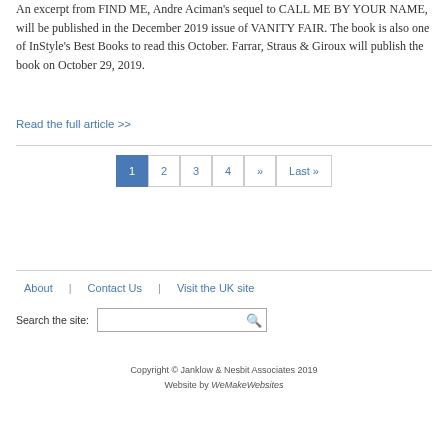An excerpt from FIND ME, Andre Aciman's sequel to CALL ME BY YOUR NAME, will be published in the December 2019 issue of VANITY FAIR. The book is also one of InStyle's Best Books to read this October. Farrar, Straus & Giroux will publish the book on October 29, 2019.
Read the full article >>
1  2  3  4  »»  Last »
About | Contact Us | Visit the UK site
Search the site:
Copyright © Janklow & Nesbit Associates 2019
Website by WeMakeWebsites